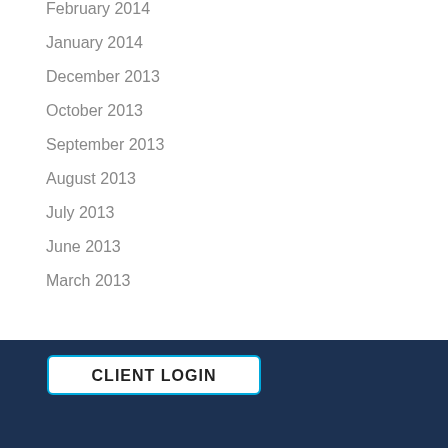February 2014
January 2014
December 2013
October 2013
September 2013
August 2013
July 2013
June 2013
March 2013
CLIENT LOGIN